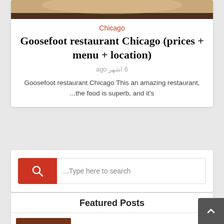[Figure (photo): Top portion of a food photograph, showing a bowl or plate against a dark background]
Chicago
Goosefoot restaurant Chicago (prices + menu + location)
6 اشهر ago
Goosefoot restaurant Chicago This an amazing restaurant, ...the food is superb, and it's
[Figure (screenshot): Search box with red search button and placeholder text '...Type here to search']
Featured Posts
[Figure (photo): Thumbnail image of Italian food being served]
Mirabella Italian Cuisine & Bar (prices